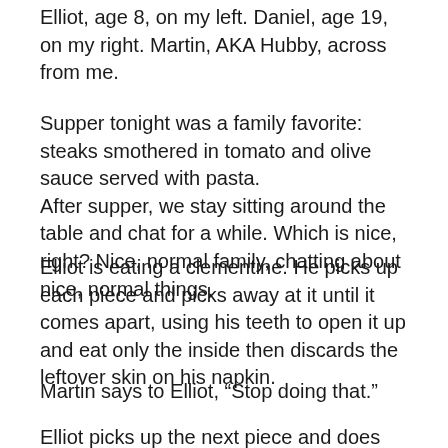Elliot, age 8, on my left. Daniel, age 19, on my right. Martin, AKA Hubby, across from me.
Supper tonight was a family favorite: steaks smothered in tomato and olive sauce served with pasta.
After supper, we stay sitting around the table and chat for a while. Which is nice, right? Nice, normal family, chatting about nice, normal things.
Elliot is eating a clementine. He picks up each piece and picks away at it until it comes apart, using his teeth to open it up and eat only the inside then discards the leftover skin on his napkin.
Martin says to Elliot, “Stop doing that.”
Elliot picks up the next piece and does the exact